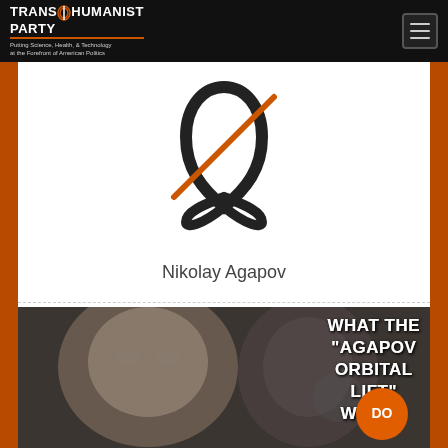TRANSHUMANIST PARTY — Putting Science, Health, & Technology at the Forefront of American Politics
[Figure (logo): Transhumanist Party infinity/figure-eight logo symbol in black and orange]
Nikolay Agapov
[Figure (photo): Two men in a side-by-side composite portrait photo with text overlay reading WHAT THE "AGAPOV ORBITAL LIFT" WOULD DO, with an orange circle containing DO]